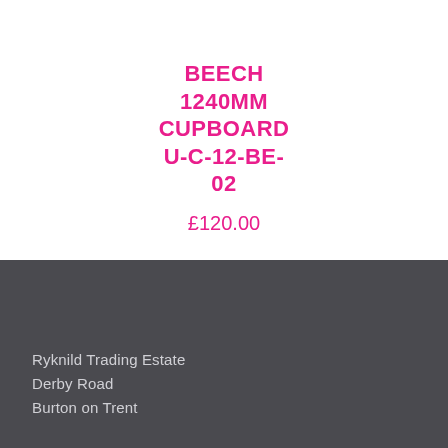BEECH 1240MM CUPBOARD U-C-12-BE-02
£120.00
Ryknild Trading Estate
Derby Road
Burton on Trent